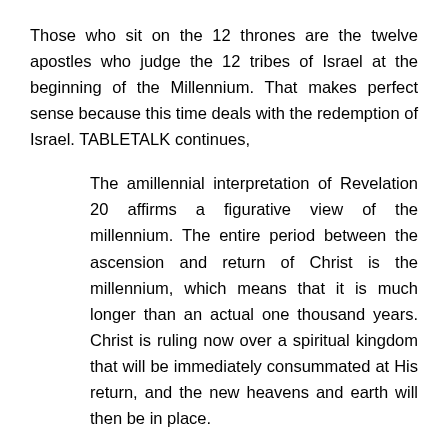Those who sit on the 12 thrones are the twelve apostles who judge the 12 tribes of Israel at the beginning of the Millennium. That makes perfect sense because this time deals with the redemption of Israel. TABLETALK continues,
The amillennial interpretation of Revelation 20 affirms a figurative view of the millennium. The entire period between the ascension and return of Christ is the millennium, which means that it is much longer than an actual one thousand years. Christ is ruling now over a spiritual kingdom that will be immediately consummated at His return, and the new heavens and earth will then be in place.
Actually, unlike Revelation 12, chapter 20 is pretty straight